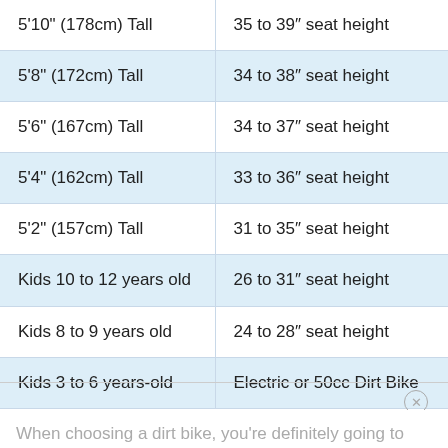| Rider Height / Age | Seat Height |
| --- | --- |
| 5'10" (178cm) Tall | 35 to 39" seat height |
| 5'8" (172cm) Tall | 34 to 38" seat height |
| 5'6" (167cm) Tall | 34 to 37" seat height |
| 5'4" (162cm) Tall | 33 to 36" seat height |
| 5'2" (157cm) Tall | 31 to 35" seat height |
| Kids 10 to 12 years old | 26 to 31" seat height |
| Kids 8 to 9 years old | 24 to 28" seat height |
| Kids 3 to 6 years-old | Electric or 50cc Dirt Bike |
When choosing a dirt bike, you're definitely going to